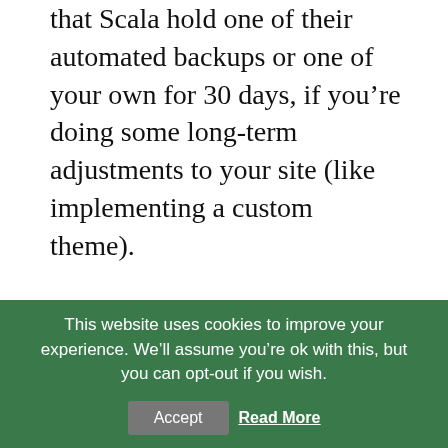that Scala hold one of their automated backups or one of your own for 30 days, if you’re doing some long-term adjustments to your site (like implementing a custom theme).
While juggling backups is a huge plus to Scala Hosting’s SPanel, there are many more benefits to using it, including one that you may not have thought about.
Scala Hosting promises 100% email deliverability from your email accounts on their hosting plans.
This website uses cookies to improve your experience. We’ll assume you’re ok with this, but you can opt-out if you wish.